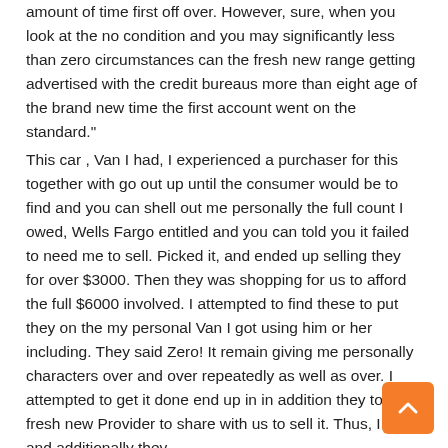amount of time first off over. However, sure, when you look at the no condition and you may significantly less than zero circumstances can the fresh new range getting advertised with the credit bureaus more than eight age of the brand new time the first account went on the standard."
This car , Van I had, I experienced a purchaser for this together with go out up until the consumer would be to find and you can shell out me personally the full count I owed, Wells Fargo entitled and you can told you it failed to need me to sell. Picked it, and ended up selling they for over $3000. Then they was shopping for us to afford the full $6000 involved. I attempted to find these to put they on the my personal Van I got using him or her including. They said Zero! It remain giving me personally characters over and over repeatedly as well as over. I attempted to get it done end up in in addition they told the fresh new Provider to share with us to sell it. Thus, I tried, and additionally they